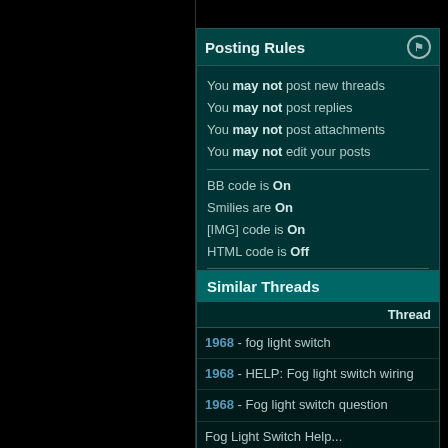Posting Rules
You may not post new threads
You may not post replies
You may not post attachments
You may not edit your posts
BB code is On
Smilies are On
[IMG] code is On
HTML code is Off
Forum Rules
Similar Threads
| Thread |
| --- |
| 1968 - fog light switch |
| 1968 - HELP: Fog light switch wiring |
| 1968 - Fog light switch question |
| Fog Light Switch Help... |
| Need Fog Light Switch and switch location? |